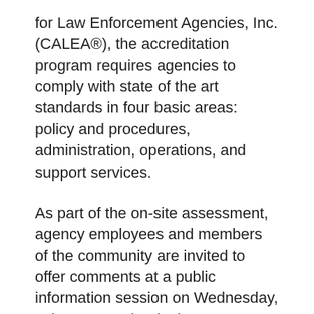for Law Enforcement Agencies, Inc. (CALEA®), the accreditation program requires agencies to comply with state of the art standards in four basic areas: policy and procedures, administration, operations, and support services.
As part of the on-site assessment, agency employees and members of the community are invited to offer comments at a public information session on Wednesday, July 17, 2019 beginning at 6:00 pm and will be conducted in the City of Kennesaw Council Chambers located at 2529 J. O. Stephenson Avenue, Kennesaw, Georgia 30144. Comments will be taken by the Assessment Team.
Agency employees and the public are also invited